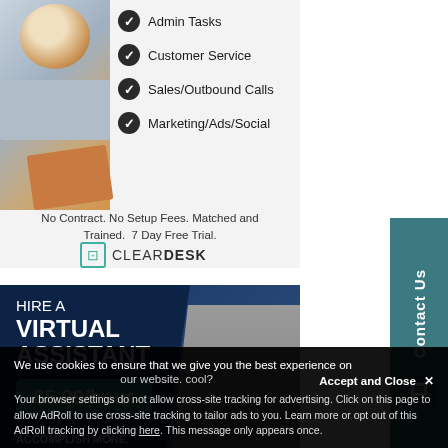[Figure (illustration): ClearDesk advertisement showing a laptop and coffee cup with checkmarked service list: Admin Tasks, Customer Service, Sales/Outbound Calls, Marketing/Ads/Social. Tagline: No Contract. No Setup Fees. Matched and Trained. 7 Day Free Trial. ClearDesk logo at bottom.]
[Figure (illustration): Contact Us sidebar button in teal/dark green color with vertical text and chat icon]
[Figure (illustration): Virtual assistant hire ad on dark navy background. Text: HIRE A VIRTUAL ASSISTANT $5.99/hour ACCOMPLISH MORE. JUGGLE LESS. with photo of woman on right.]
We use cookies to ensure that we give you the best experience on our website. cool?
Accept and Close ✕
Your browser settings do not allow cross-site tracking for advertising. Click on this page to allow AdRoll to use cross-site tracking to tailor ads to you. Learn more or opt out of this AdRoll tracking by clicking here. This message only appears once.